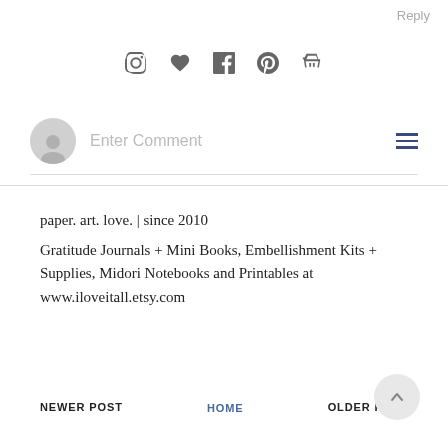Reply
[Figure (illustration): Social media icons: Instagram, heart/Bloglovin, Facebook, Pinterest, shopping basket]
[Figure (illustration): Comment input bar with user avatar, placeholder text 'Enter Comment', and hamburger menu icon]
paper. art. love. | since 2010
Gratitude Journals + Mini Books, Embellishment Kits + Supplies, Midori Notebooks and Printables at www.iloveitall.etsy.com
NEWER POST
HOME
OLDER POST